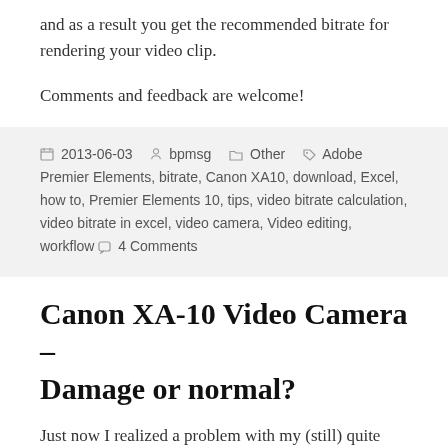and as a result you get the recommended bitrate for rendering your video clip.
Comments and feedback are welcome!
2013-06-03  bpmsg  Other  Adobe Premier Elements, bitrate, Canon XA10, download, Excel, how to, Premier Elements 10, tips, video bitrate calculation, video bitrate in excel, video camera, Video editing, workflow  4 Comments
Canon XA-10 Video Camera – Damage or normal?
Just now I realized a problem with my (still) quite new Cannon XA-10 camera. Obvious under low light conditions and white colored background the